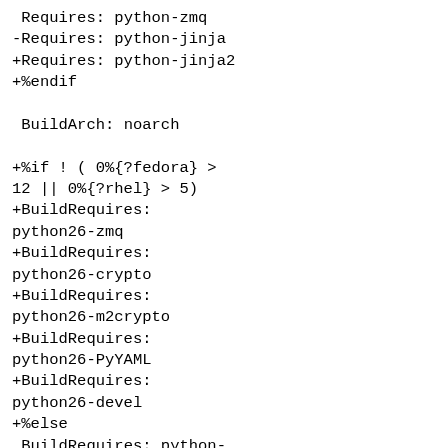Requires: python-zmq
-Requires: python-jinja
+Requires: python-jinja2
+%endif

 BuildArch: noarch

+%if ! ( 0%{?fedora} > 12 || 0%{?rhel} > 5)
+BuildRequires: python26-zmq
+BuildRequires: python26-crypto
+BuildRequires: python26-m2crypto
+BuildRequires: python26-PyYAML
+BuildRequires: python26-devel
+%else
 BuildRequires: python-zmq
 BuildRequires: python-crypto
 BuildRequires: m2crypto
 BuildRequires: PyYAML
 BuildRequires: python-devel
+%endif